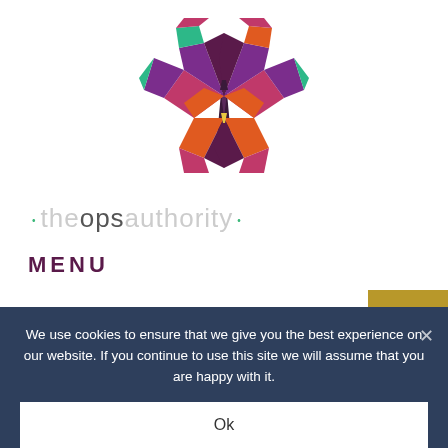[Figure (logo): Geometric butterfly logo made of colorful polygon shapes in pink, magenta, orange, green, teal, and purple]
• theopsauthority •
MENU
WHAT 2019 TAUGHT ME
[Figure (other): Gold/yellow search icon button with magnifying glass]
We use cookies to ensure that we give you the best experience on our website. If you continue to use this site we will assume that you are happy with it.
Ok
12/10/2019